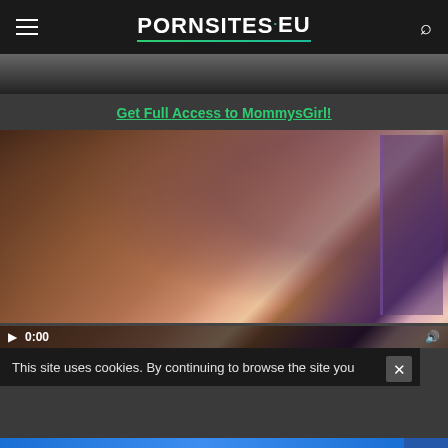PORNSITES.EU
[Figure (screenshot): Cropped video thumbnail strip at top of page]
Get Full Access to MommysGirl!
[Figure (screenshot): Video player showing two women, timestamp 0:00, with playback controls]
This site uses cookies. By continuing to browse the site you
VISIT MOMMYSGIRL →